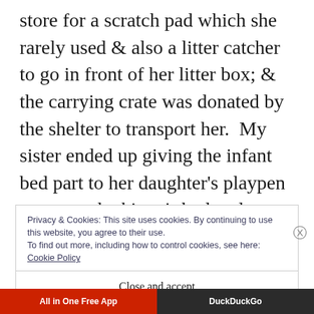store for a scratch pad which she rarely used & also a litter catcher to go in front of her litter box; & the carrying crate was donated by the shelter to transport her.  My sister ended up giving the infant bed part to her daughter's playpen to use as the kitten's bed and a snuggle fleece outerwear for extra cushion and warmth.  She's ALL set!
Privacy & Cookies: This site uses cookies. By continuing to use this website, you agree to their use.
To find out more, including how to control cookies, see here: Cookie Policy
Close and accept
All in One Free App   DuckDuckGo